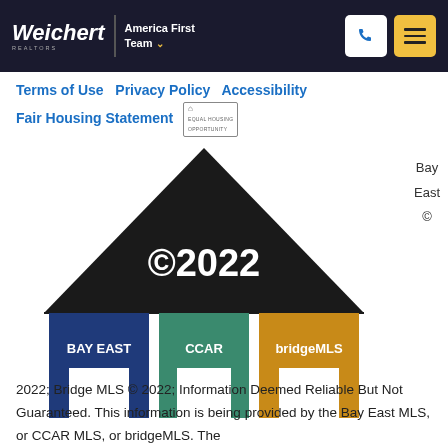Weichert REALTORS | America First Team
Terms of Use  Privacy Policy  Accessibility  Fair Housing Statement
[Figure (logo): Bay East / CCAR / bridgeMLS house logo with three colored sections (blue=BAY EAST, green=CCAR, orange=bridgeMLS) under a black triangle roof with ©2022]
Bay
East
©
2022; Bridge MLS © 2022; Information Deemed Reliable But Not Guaranteed. This information is being provided by the Bay East MLS, or CCAR MLS, or bridgeMLS. The